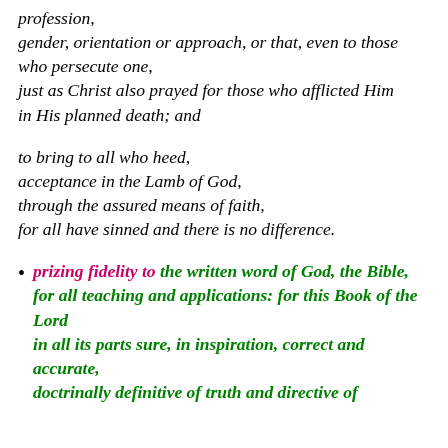profession,
gender, orientation or approach, or that, even to those who persecute one,
just as Christ also prayed for those who afflicted Him
in His planned death; and
to bring to all who heed,
acceptance in the Lamb of God,
through the assured means of faith,
for all have sinned and there is no difference.
prizing fidelity to the written word of God, the Bible,
for all teaching and applications: for this Book of the Lord
in all its parts sure, in inspiration, correct and accurate,
doctrinally definitive of truth and directive of